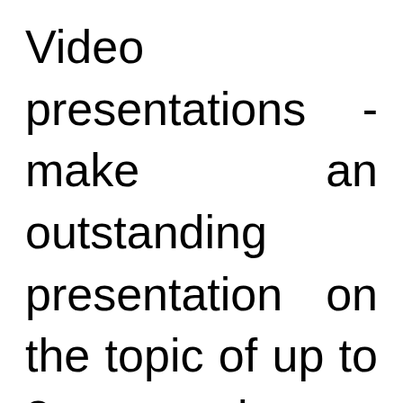Video presentations - make an outstanding presentation on the topic of up to 3 minutes- FINAL (April, 2022)Work in international teams to create and deliver a live presentation in